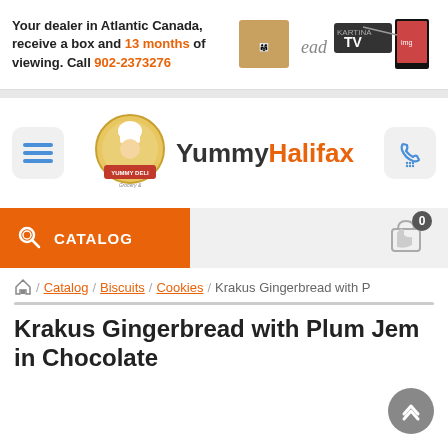[Figure (screenshot): Ad banner: text 'Your dealer in Atlantic Canada, receive a box and 13 months of viewing. Call 902-2373276' with Kartina TV logos on the right]
[Figure (logo): YummyHalifax site header with Yummy Deli logo and site name]
[Figure (screenshot): Orange CATALOG navigation bar with search icon and cart icon showing 0 items]
/ Catalog / Biscuits / Cookies / Krakus Gingerbread with P
Krakus Gingerbread with Plum Jem in Chocolate